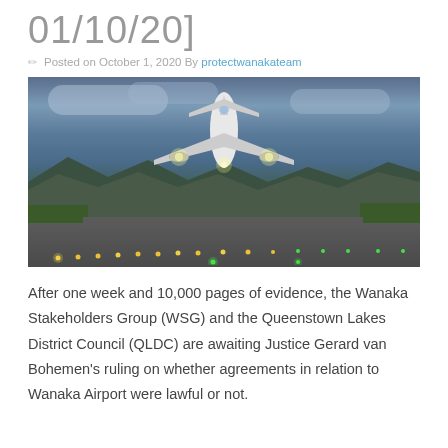01/10/20]
Posted on October 1, 2020 By protectwanakateam
[Figure (photo): Airplane taking off from a runway at dusk/dawn with runway lights visible and mountains in the background]
After one week and 10,000 pages of evidence, the Wanaka Stakeholders Group (WSG) and the Queenstown Lakes District Council (QLDC) are awaiting Justice Gerard van Bohemen's ruling on whether agreements in relation to Wanaka Airport were lawful or not.